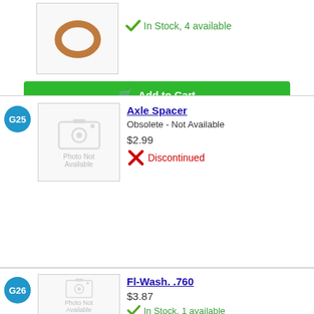[Figure (photo): Partial product image showing a ring/washer part (top of previous listing G24)]
In Stock, 4 available
Add to Cart
G25
[Figure (photo): Photo Not Available placeholder for Axle Spacer]
Axle Spacer
Obsolete - Not Available
$2.99
Discontinued
G26
[Figure (photo): Photo Not Available placeholder for Fl-Wash. .760]
Fl-Wash. .760
$3.87
In Stock, 1 available
Add to Cart